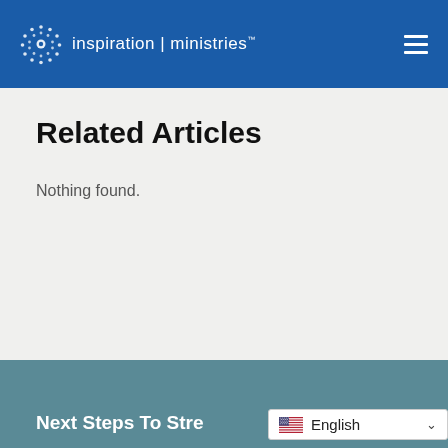inspiration | ministries
Related Articles
Nothing found.
Next Steps To Stre...